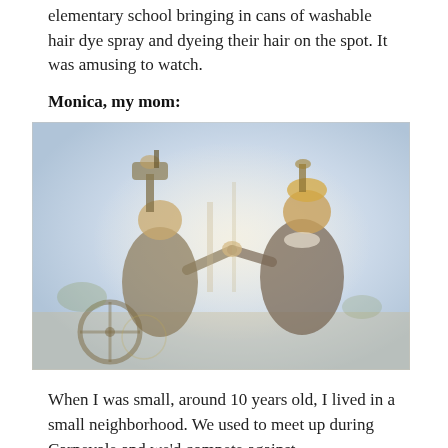elementary school bringing in cans of washable hair dye spray and dyeing their hair on the spot. It was amusing to watch.
Monica, my mom:
[Figure (photo): Two elaborately costumed figures in masks and decorative headpieces standing outdoors, appearing to hold hands or touch. Soft, slightly blurred warm-toned photo with a pale blue sky background. A cart or wheeled structure is visible in the lower left.]
When I was small, around 10 years old, I lived in a small neighborhood. We used to meet up during Carnevale and we'd compete against